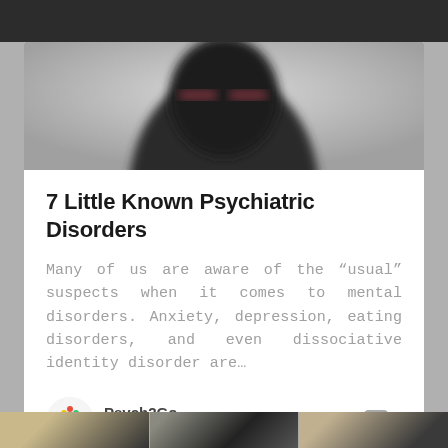[Figure (photo): Blurred dark figure of a person against a light gray background, identity obscured]
7 Little Known Psychiatric Disorders
Many of us are aware of the “usual” suspects when it comes to mental disorders. Anxiety, depression, eating disorders, and even dissociative identity disorder are…
Psych2Go
December 7, 2017
[Figure (photo): Bottom strip showing partial thumbnail images of other articles]